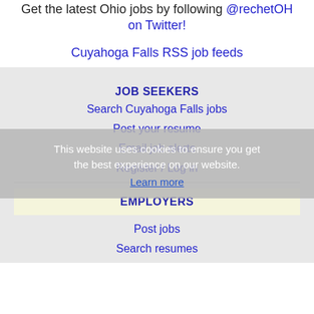Get the latest Ohio jobs by following @rechetOH on Twitter!
Cuyahoga Falls RSS job feeds
JOB SEEKERS
Search Cuyahoga Falls jobs
Post your resume
Email job alerts
Register / Log in
This website uses cookies to ensure you get the best experience on our website. Learn more
EMPLOYERS
Post jobs
Search resumes